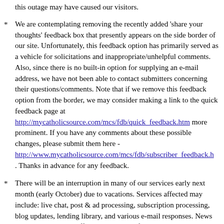this outage may have caused our visitors.
We are contemplating removing the recently added 'share your thoughts' feedback box that presently appears on the side border of our site. Unfortunately, this feedback option has primarily served as a vehicle for solicitations and inappropriate/unhelpful comments. Also, since there is no built-in option for supplying an e-mail address, we have not been able to contact submitters concerning their questions/comments. Note that if we remove this feedback option from the border, we may consider making a link to the quick feedback page at http://mycatholicsource.com/mcs/fdb/quick_feedback.htm more prominent. If you have any comments about these possible changes, please submit them here - http://www.mycatholicsource.com/mcs/fdb/subscriber_feedback.h . Thanks in advance for any feedback.
There will be an interruption in many of our services early next month (early October) due to vacations. Services affected may include: live chat, post & ad processing, subscription processing, blog updates, lending library, and various e-mail responses. News updates will also be affected. For dates of service interruption, please visit http://www.mycatholicsource.com/mcs/cg/notices.htm . Although you may notice delays in the above services, access to